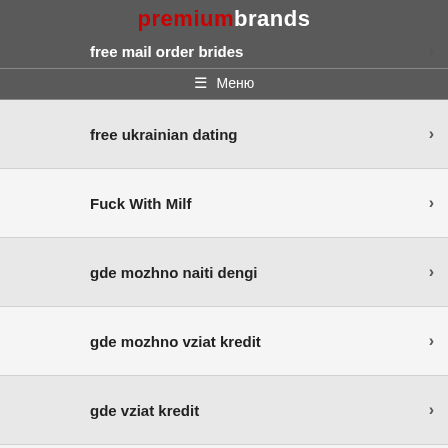premiumbrands
free mail order brides
≡ Меню
free ukrainian dating
Fuck With Milf
gde mozhno naiti dengi
gde mozhno vziat kredit
gde vziat kredit
gde vziat kredit na kartu onlain
GPACALCULATOR 2
Hello world